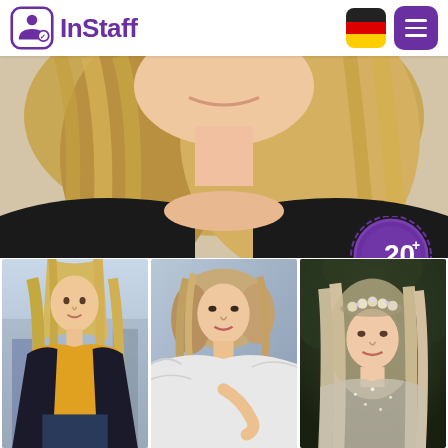[Figure (logo): InStaff logo with purple icon of person with ribbon badge and purple InStaff text]
[Figure (photo): Close-up photo of a woman with long blonde hair, smiling, wearing a dark jacket, with a purple badge showing 20+ JOBS]
[Figure (photo): Three portrait photos of blonde women: left wearing yellow top with dark jacket, center wearing white off-shoulder top, right wearing floral crown with long wavy hair]